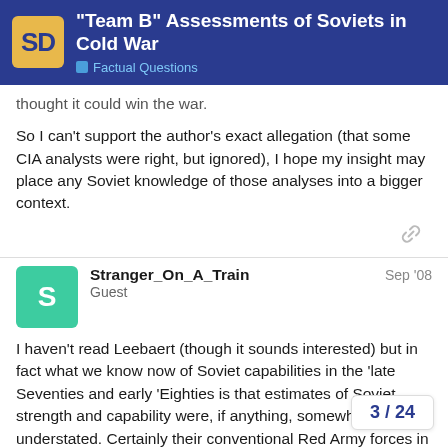"Team B" Assessments of Soviets in Cold War — Factual Questions
thought it could win the war.
So I can't support the author's exact allegation (that some CIA analysts were right, but ignored), I hope my insight may place any Soviet knowledge of those analyses into a bigger context.
Stranger_On_A_Train  Sep '08
Guest
I haven't read Leebaert (though it sounds interested) but in fact what we know now of Soviet capabilities in the 'late Seventies and early 'Eighties is that estimates of Soviet strength and capability were, if anything, somewhat understated. Certainly their conventional Red Army forces in Europe, even during the height of the occupation of Afghanistan, were substantially more than those of NATO; this (along with the ba 'Scalpel' and SS-23 'Spider' in Warsaw Pa
3 / 24